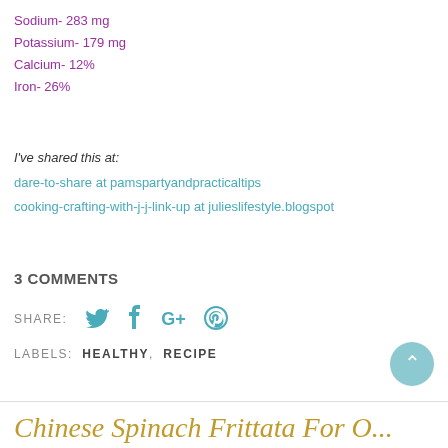Sodium- 283 mg
Potassium- 179 mg
Calcium- 12%
Iron- 26%
I've shared this at:
dare-to-share at pamspartyandpracticaltips
cooking-crafting-with-j-j-link-up at julieslifestyle.blogspot
3 COMMENTS
SHARE: [Twitter] [Facebook] [G+] [Pinterest]
LABELS: HEALTHY, RECIPE
Chinese Spinach Frittata For One